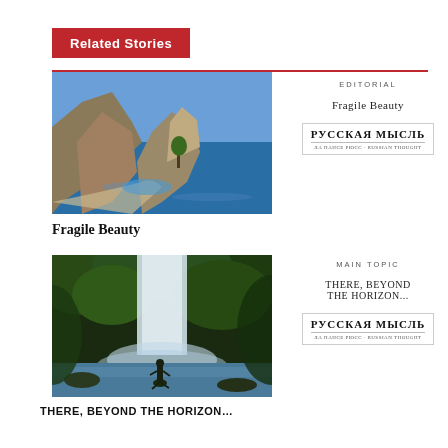Related Stories
[Figure (photo): Scenic rocky coastline with blue water and a tree, aerial view]
Fragile Beauty
Editorial
Fragile Beauty
[Figure (logo): РУССКАЯ МЫСЛЬ logo]
[Figure (photo): Person standing on rocks before a large waterfall in a jungle]
THERE, BEYOND THE HORIZON…
Main Topic
There, Beyond The Horizon...
[Figure (logo): РУССКАЯ МЫСЛЬ logo]